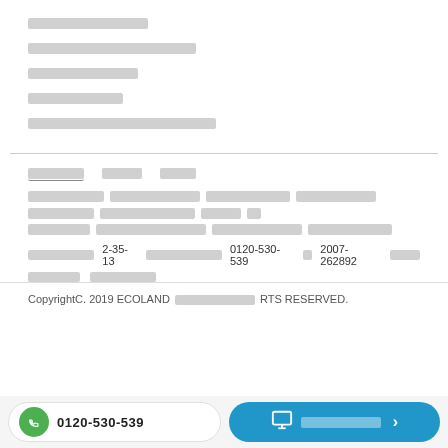[redacted Japanese text line 1]
[redacted Japanese text line 2]
[redacted Japanese text line 3]
[redacted Japanese text line 4]
[redacted Japanese text line 5]
[footer links and address block] 0120-530-539 2007-262892
CopyrightC. 2019 ECOLAND [redacted] RTS RESERVED.
0120-530-539 | [redacted button text]